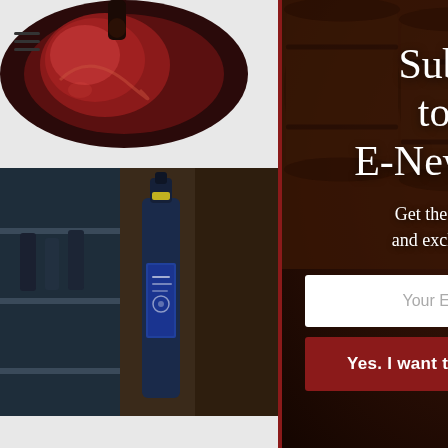[Figure (photo): Top-left wine glass photo, partially visible, red wine from above]
[Figure (photo): Wine bottle (blue label) in a wine cellar/store setting, partially cropped on right]
Ohio-Grown Ice Captures “Overc Show” Award
[Figure (photo): Newsletter modal overlay with wine barrels background and wine being poured into glass]
Subsribe to Our E-Newsletter!
Get the latest updates and exclusive content.
Your Email Address
Yes. I want to receive udpates